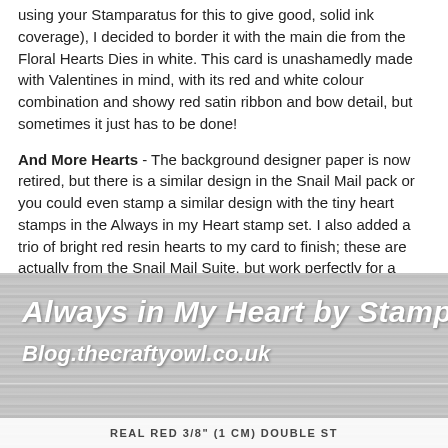using your Stamparatus for this to give good, solid ink coverage), I decided to border it with the main die from the Floral Hearts Dies in white. This card is unashamedly made with Valentines in mind, with its red and white colour combination and showy red satin ribbon and bow detail, but sometimes it just has to be done!
And More Hearts - The background designer paper is now retired, but there is a similar design in the Snail Mail pack or you could even stamp a similar design with the tiny heart stamps in the Always in my Heart stamp set. I also added a trio of bright red resin hearts to my card to finish; these are actually from the Snail Mail Suite, but work perfectly for a Valentine's card and blend easily with other sets too.
Here is the visual summary of the key products used on today's project for you to pin for easy reference:
[Figure (illustration): Dark grey/wood-textured background image with white italic bold text reading 'Always in My Heart by Stampi' (partially cropped) and below it 'Blog.thecraftyowl.co.uk'. At the bottom a white bar with text 'REAL RED 3/8" (1 CM) DOUBLE ST' (partially cropped).]